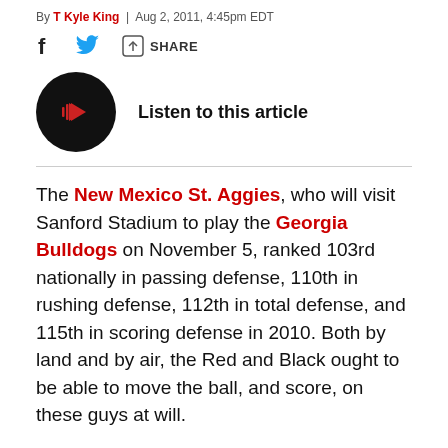By T Kyle King | Aug 2, 2011, 4:45pm EDT
[Figure (infographic): Social share bar with Facebook icon, Twitter bird icon, and share button with arrow icon]
[Figure (infographic): Listen to this article button: black circle with red audio/play icon, text 'Listen to this article']
The New Mexico St. Aggies, who will visit Sanford Stadium to play the Georgia Bulldogs on November 5, ranked 103rd nationally in passing defense, 110th in rushing defense, 112th in total defense, and 115th in scoring defense in 2010. Both by land and by air, the Red and Black ought to be able to move the ball, and score, on these guys at will.